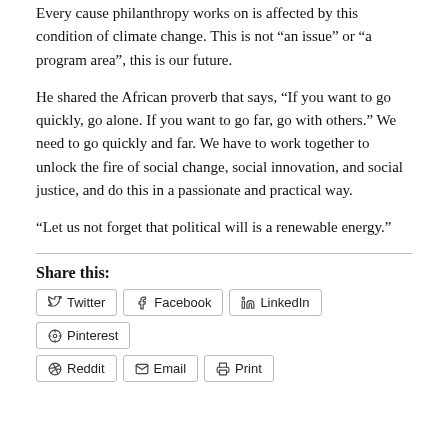Every cause philanthropy works on is affected by this condition of climate change. This is not “an issue” or “a program area”, this is our future.
He shared the African proverb that says, “If you want to go quickly, go alone. If you want to go far, go with others.” We need to go quickly and far. We have to work together to unlock the fire of social change, social innovation, and social justice, and do this in a passionate and practical way.
“Let us not forget that political will is a renewable energy.”
Share this:
Twitter | Facebook | LinkedIn | Pinterest | Reddit | Email | Print